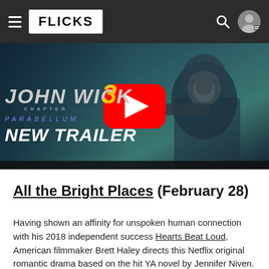FLICKS
[Figure (screenshot): John Wick Chapter 3 Parabellum New Trailer YouTube video thumbnail with play button overlay]
All the Bright Places (February 28)
Having shown an affinity for unspoken human connection with his 2018 independent success Hearts Beat Loud, American filmmaker Brett Haley directs this Netflix original romantic drama based on the hit YA novel by Jennifer Niven. Elle Fanning (Maleficent, The Neon Demon) and Justice Smith (Jurassic World: Fallen